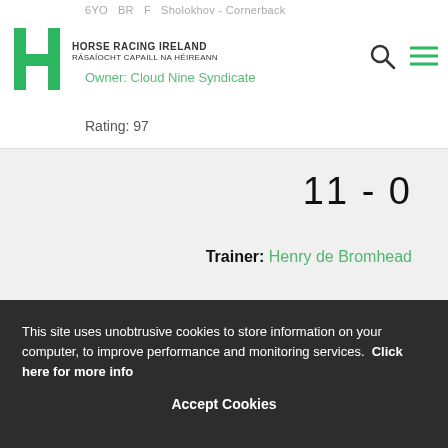Horse Racing Ireland - RÁSAÍOCHT CAPAILL NA HÉIREANN
6YO  BR  F  Sholokhov - Cornerback
Owner: Cloud Nine Syndicate
Rating: 97
11 - 0
Trainer: Henry de Bromhead
Place: €1.10
tracked leaders, 2nd from 4th, slight mistake 6th, pushed along and no impression before 2 out, ridden before last, kept on one pace
This site uses unobtrusive cookies to store information on your computer, to improve performance and monitoring services. Click here for more info
Accept Cookies